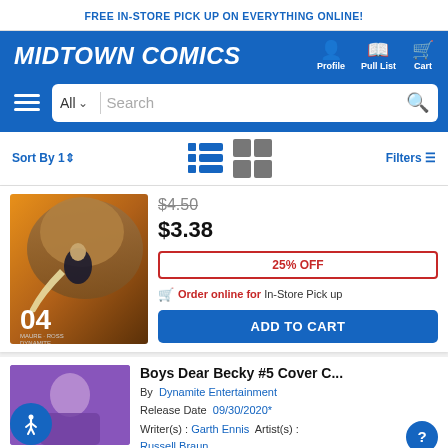FREE IN-STORE PICK UP ON EVERYTHING ONLINE!
[Figure (logo): Midtown Comics logo with Profile, Pull List, Cart navigation icons]
[Figure (screenshot): Search bar with All dropdown and search icon]
Sort By | [list view icon] [grid view icon] | Filters
[Figure (photo): Comic book cover issue 04 by Dynamite showing woman and elephant]
$4.50 (strikethrough original price)
$3.38
25% OFF
Order online for In-Store Pick up
ADD TO CART
Boys Dear Becky #5 Cover C...
By  Dynamite Entertainment
Release Date  09/30/2020*
Writer(s) :  Garth Ennis  Artist(s) :
Russell Braun